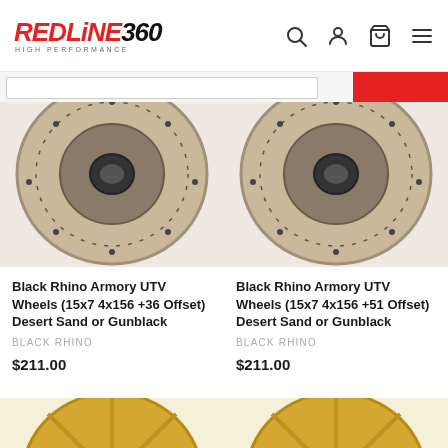REDLINE360 HIGH PERFORMANCE
[Figure (photo): Black Rhino Armory UTV wheel in desert sand/gunblack finish, 15x7 4x156 +36 offset, top portion of wheel visible]
Black Rhino Armory UTV Wheels (15x7 4x156 +36 Offset) Desert Sand or Gunblack
BLACK RHINO
$211.00
[Figure (photo): Black Rhino Armory UTV wheel in desert sand/gunblack finish, 15x7 4x156 +51 offset, top portion of wheel visible]
Black Rhino Armory UTV Wheels (15x7 4x156 +51 Offset) Desert Sand or Gunblack
BLACK RHINO
$211.00
[Figure (photo): Gold/yellow finish wheel, partially visible at bottom of page, left product]
[Figure (photo): Gold/yellow finish wheel, partially visible at bottom of page, right product]